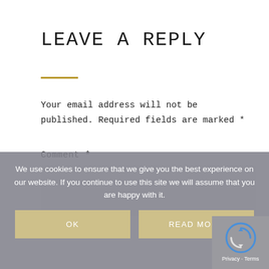LEAVE A REPLY
Your email address will not be published. Required fields are marked *
Comment *
We use cookies to ensure that we give you the best experience on our website. If you continue to use this site we will assume that you are happy with it.
OK
READ MORE